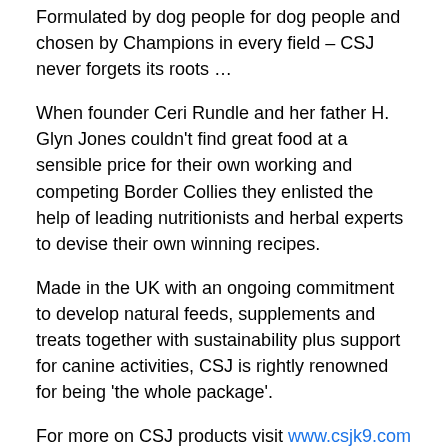Formulated by dog people for dog people and chosen by Champions in every field – CSJ never forgets its roots …
When founder Ceri Rundle and her father H. Glyn Jones couldn't find great food at a sensible price for their own working and competing Border Collies they enlisted the help of leading nutritionists and herbal experts to devise their own winning recipes.
Made in the UK with an ongoing commitment to develop natural feeds, supplements and treats together with sustainability plus support for canine activities, CSJ is rightly renowned for being 'the whole package'.
For more on CSJ products visit www.csjk9.com or call 01745710470
… and follow CSJ winners on